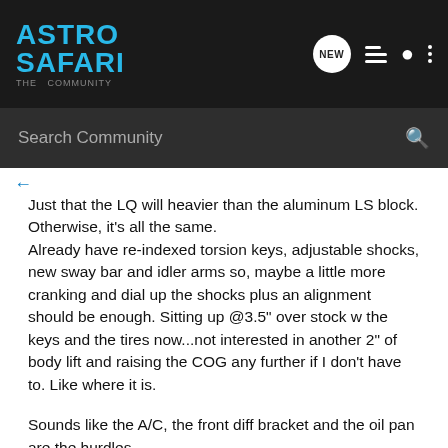ASTRO SAFARI
Just that the LQ will heavier than the aluminum LS block. Otherwise, it's all the same. Already have re-indexed torsion keys, adjustable shocks, new sway bar and idler arms so, maybe a little more cranking and dial up the shocks plus an alignment should be enough. Sitting up @3.5" over stock w the keys and the tires now...not interested in another 2" of body lift and raising the COG any further if I don't have to. Like where it is.
Sounds like the A/C, the front diff bracket and the oil pan are the hurdles.
Is it just the width of the LS oil pan that's causing the front diff issue?